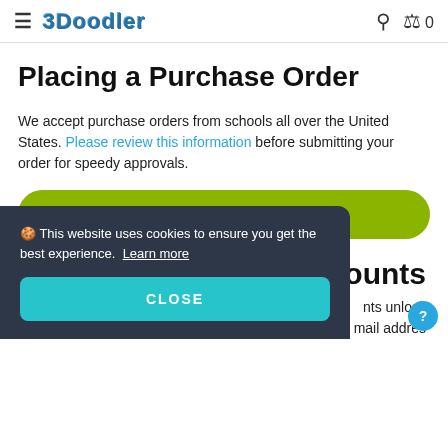3Doodler — navigation header with search and cart icons
Placing a Purchase Order
We accept purchase orders from schools all over the United States. Please review this information before submitting your order for speedy approvals.
[Figure (other): Green LEARN MORE button]
scounts
nts unlock mail addres
🍪 This website uses cookies to ensure you get the best experience. Learn more
[Figure (other): CLOSE button in cookie banner]